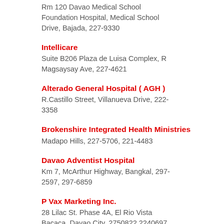Rm 120 Davao Medical School Foundation Hospital, Medical School Drive, Bajada, 227-9330
Intellicare
Suite B206 Plaza de Luisa Complex, R Magsaysay Ave, 227-4621
Alterado General Hospital ( AGH )
R.Castillo Street, Villanueva Drive, 222-3358
Brokenshire Integrated Health Ministries
Madapo Hills, 227-5706, 221-4483
Davao Adventist Hospital
Km 7, McArthur Highway, Bangkal, 297-2597, 297-6859
P Vax Marketing Inc.
28 Lilac St. Phase 4A, El Rio Vista Bacaca, Davao City, 2750822 2240697 2235272
RPV Electro Technology Phils Corp.